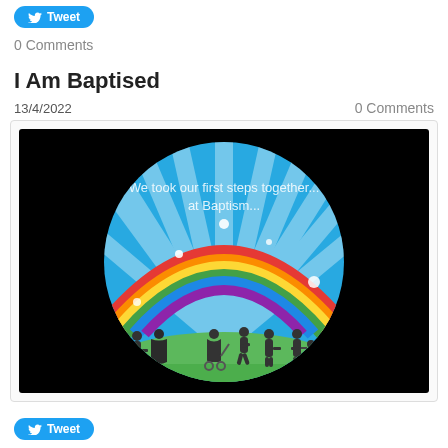Tweet
0 Comments
I Am Baptised
13/4/2022
0 Comments
[Figure (illustration): Circular illustration on black background showing silhouettes of diverse people walking/running across a green field beneath a rainbow with blue sky and rays. Text reads 'We took our first steps together... at Baptism...']
Tweet